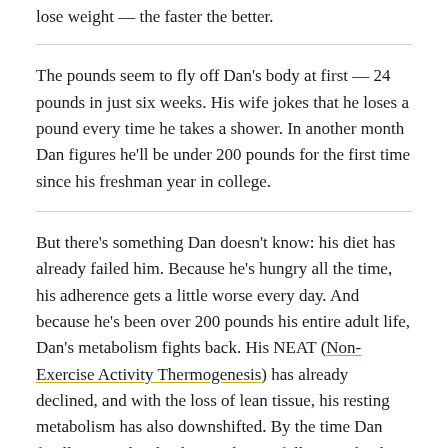lose weight — the faster the better.
The pounds seem to fly off Dan's body at first — 24 pounds in just six weeks. His wife jokes that he loses a pound every time he takes a shower. In another month Dan figures he'll be under 200 pounds for the first time since his freshman year in college.
But there's something Dan doesn't know: his diet has already failed him. Because he's hungry all the time, his adherence gets a little worse every day. And because he's been over 200 pounds his entire adult life, Dan's metabolism fights back. His NEAT (Non-Exercise Activity Thermogenesis) has already declined, and with the loss of lean tissue, his resting metabolism has also downshifted. By the time Dan finally concedes that he's no longer following the diet, he's regained some of the weight, and his body is primed to regain the rest, plus a few extra pounds. That's